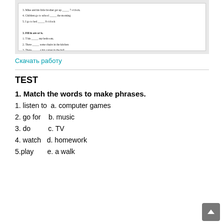[Figure (screenshot): Scanned worksheet preview showing exercises: 'Fill in are or is' with sentences about rooms, and 'Write the adjectives in the correct form' with fill-in-the-blank items.]
Скачать работу
TEST
1. Match the words to make phrases.
1. listen to  a. computer games
2. go for   b. music
3. do        c. TV
4. watch   d. homework
5.play       e. a walk